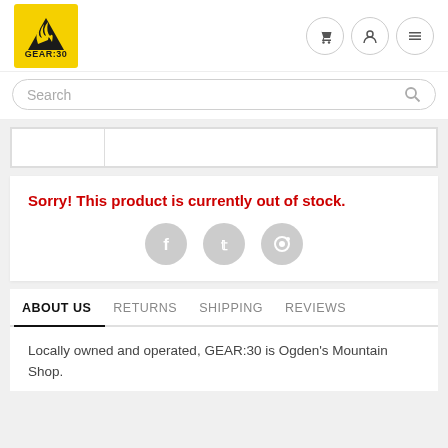[Figure (logo): GEAR:30 logo — yellow square with mountain/flame icon and GEAR:30 text]
|  |  |
Sorry! This product is currently out of stock.
[Figure (illustration): Three social media icon circles: Facebook, Twitter, Pinterest]
ABOUT US
Locally owned and operated, GEAR:30 is Ogden's Mountain Shop.